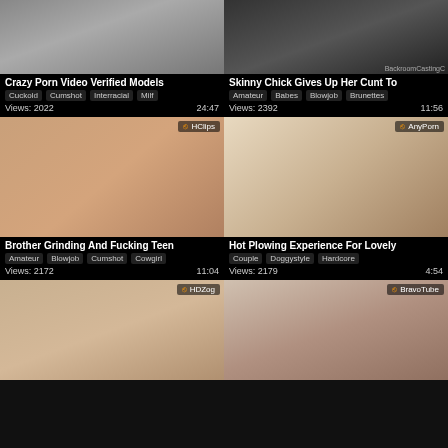[Figure (screenshot): Thumbnail for 'Crazy Porn Video Verified Models' - top left card]
[Figure (screenshot): Thumbnail for 'Skinny Chick Gives Up Her Cunt To' - top right card]
[Figure (screenshot): Thumbnail for 'Brother Grinding And Fucking Teen' - middle left card, source: HClips]
[Figure (screenshot): Thumbnail for 'Hot Plowing Experience For Lovely' - middle right card, source: AnyPorn]
[Figure (screenshot): Thumbnail for bottom left card, source: HDZog]
[Figure (screenshot): Thumbnail for bottom right card, source: BravoTube]